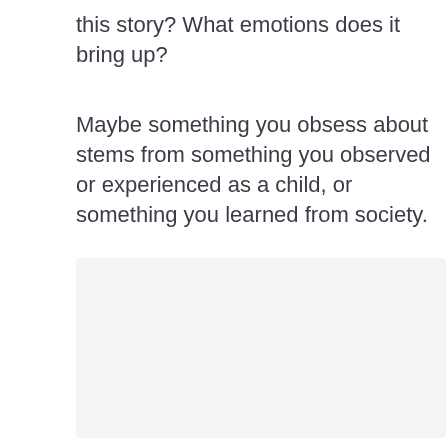this story? What emotions does it bring up?
Maybe something you obsess about stems from something you observed or experienced as a child, or something you learned from society.
[Figure (other): A light gray empty input/text area box for user response.]